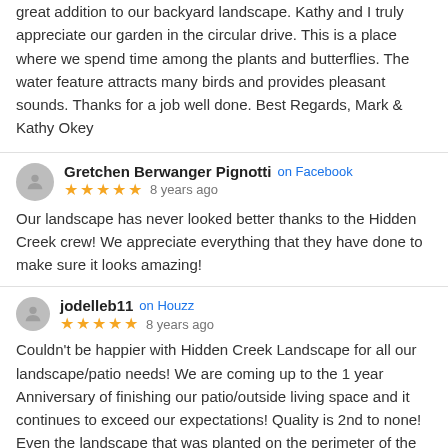and rest. The fireplace pit attracts young and old alike and is a great addition to our backyard landscape. Kathy and I truly appreciate our garden in the circular drive. This is a place where we spend time among the plants and butterflies. The water feature attracts many birds and provides pleasant sounds. Thanks for a job well done. Best Regards, Mark & Kathy Okey
Gretchen Berwanger Pignotti on Facebook ★★★★★ 8 years ago
Our landscape has never looked better thanks to the Hidden Creek crew! We appreciate everything that they have done to make sure it looks amazing!
jodelleb11 on Houzz ★★★★★ 8 years ago
Couldn't be happier with Hidden Creek Landscape for all our landscape/patio needs! We are coming up to the 1 year Anniversary of finishing our patio/outside living space and it continues to exceed our expectations! Quality is 2nd to none! Even the landscape that was planted on the perimeter of the new patio has continues to thrive!